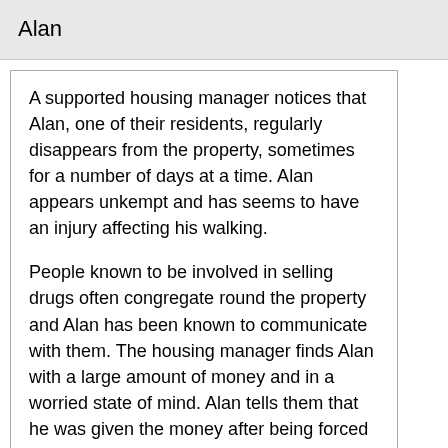Alan
A supported housing manager notices that Alan, one of their residents, regularly disappears from the property, sometimes for a number of days at a time. Alan appears unkempt and has seems to have an injury affecting his walking.
People known to be involved in selling drugs often congregate round the property and Alan has been known to communicate with them. The housing manager finds Alan with a large amount of money and in a worried state of mind. Alan tells them that he was given the money after being forced to travel to another town with drugs given to him by a ‘gang’. He says that if the gang knew he’d told someone they would hurt him.
The manager tells Alan they are concerned about his welfare and safety and would like to make a